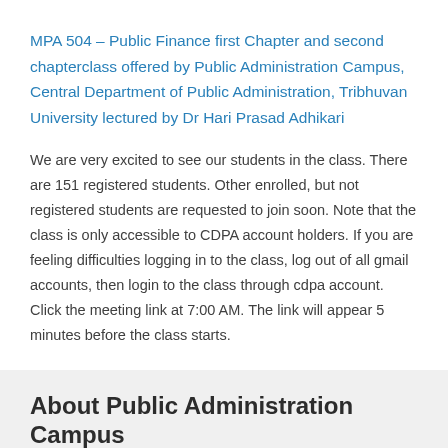MPA 504 – Public Finance first Chapter and second chapterclass offered by Public Administration Campus, Central Department of Public Administration, Tribhuvan University lectured by Dr Hari Prasad Adhikari
We are very excited to see our students in the class. There are 151 registered students. Other enrolled, but not registered students are requested to join soon. Note that the class is only accessible to CDPA account holders. If you are feeling difficulties logging in to the class, log out of all gmail accounts, then login to the class through cdpa account. Click the meeting link at 7:00 AM. The link will appear 5 minutes before the class starts.
About Public Administration Campus
Public Administration Campus (PAC) is the constituent campus of